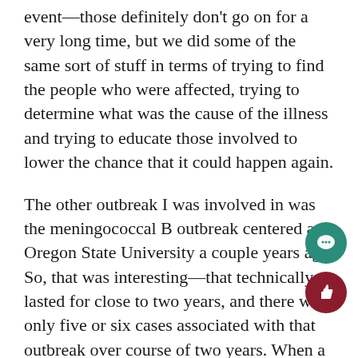event—those definitely don't go on for a very long time, but we did some of the same sort of stuff in terms of trying to find the people who were affected, trying to determine what was the cause of the illness and trying to educate those involved to lower the chance that it could happen again.
The other outbreak I was involved in was the meningococcal B outbreak centered at Oregon State University a couple years ago. So, that was interesting—that technically lasted for close to two years, and there were only five or six cases associated with that outbreak over course of two years. When a case would pop up, it would be maybe two weeks of all-hands on-deck, find the people who were exposed that case, get them proactive treatment if